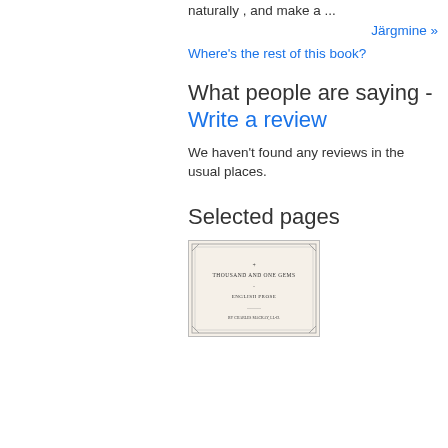naturally , and make a ...
Järgmine »
Where's the rest of this book?
What people are saying - Write a review
We haven't found any reviews in the usual places.
Selected pages
[Figure (photo): Book cover or title page thumbnail showing 'THOUSAND AND ONE GEMS - ENGLISH PROSE' with decorative border]